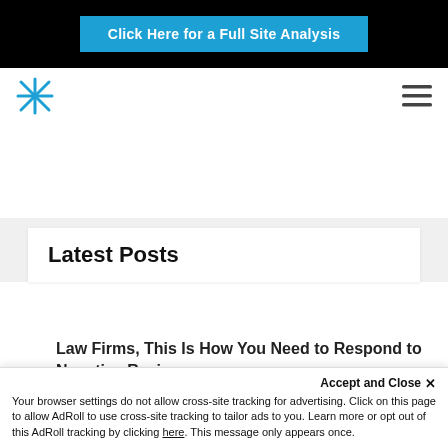[Figure (screenshot): Blue CTA button reading 'Click Here for a Full Site Analysis' on black banner]
[Figure (logo): Blue asterisk/star logo icon for law firm marketing website]
[Figure (illustration): Hamburger menu icon (three horizontal lines)]
Latest Posts
Law Firms, This Is How You Need to Respond to Negative Reviews
Accept and Close ✕
Your browser settings do not allow cross-site tracking for advertising. Click on this page to allow AdRoll to use cross-site tracking to tailor ads to you. Learn more or opt out of this AdRoll tracking by clicking here. This message only appears once.